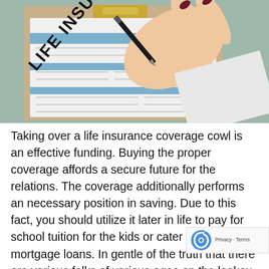[Figure (photo): A hand holding a black pen, signing or filling out a Life Insurance form on a clipboard with a wooden clip. The form has blue header sections and white fields.]
Taking over a life insurance coverage cowl is an effective funding. Buying the proper coverage affords a secure future for the relations. The coverage additionally performs an necessary position in saving. Due to this fact, you should utilize it later in life to pay for school tuition for the kids or cater to your mortgage loans. In gentle of the truth that there are various folks of various ages on the lookout for a chance to obtain a canopy, firms have established several types of insurance policies to cater for various wants and